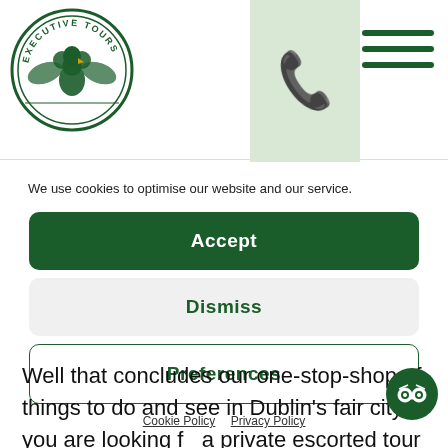[Figure (logo): Executive Tours circular logo with shamrock and eagle, green and white]
[Figure (other): Phone icon button on light green background]
[Figure (other): Hamburger menu icon (three horizontal green lines)]
We use cookies to optimise our website and our service.
Accept
Dismiss
Preferences
Cookie Policy   Privacy Policy
Well that concludes our one-stop-shop of things to do and see in Dublin's fair city. If you are looking for a private escorted tour of Ireland  and would like